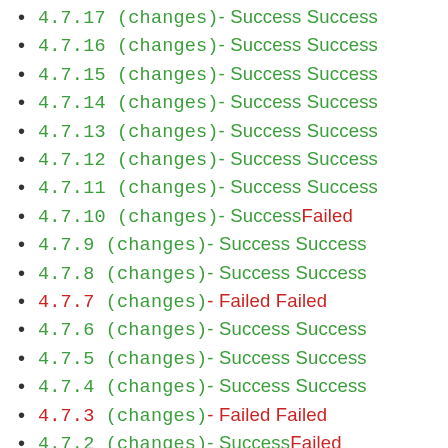4.7.17 (changes) - Success Success
4.7.16 (changes) - Success Success
4.7.15 (changes) - Success Success
4.7.14 (changes) - Success Success
4.7.13 (changes) - Success Success
4.7.12 (changes) - Success Success
4.7.11 (changes) - Success Success
4.7.10 (changes) - Success Failed
4.7.9 (changes) - Success Success
4.7.8 (changes) - Success Success
4.7.7 (changes) - Failed Failed
4.7.6 (changes) - Success Success
4.7.5 (changes) - Success Success
4.7.4 (changes) - Success Success
4.7.3 (changes) - Failed Failed
4.7.2 (changes) - Success Failed
4.7.1 (changes) - Success Success
4.7.0 (changes) - Success Success